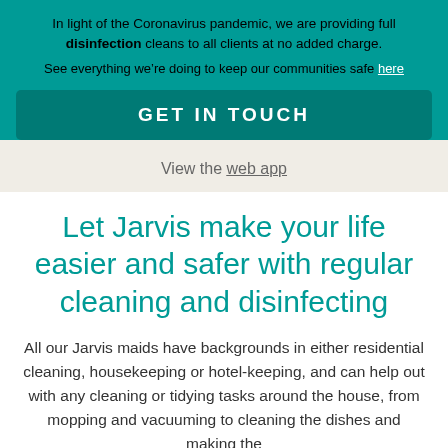In light of the Coronavirus pandemic, we are providing full disinfection cleans to all clients at no added charge.
See everything we're doing to keep our communities safe here
GET IN TOUCH
View the web app
Let Jarvis make your life easier and safer with regular cleaning and disinfecting
All our Jarvis maids have backgrounds in either residential cleaning, housekeeping or hotel-keeping, and can help out with any cleaning or tidying tasks around the house, from mopping and vacuuming to cleaning the dishes and making the